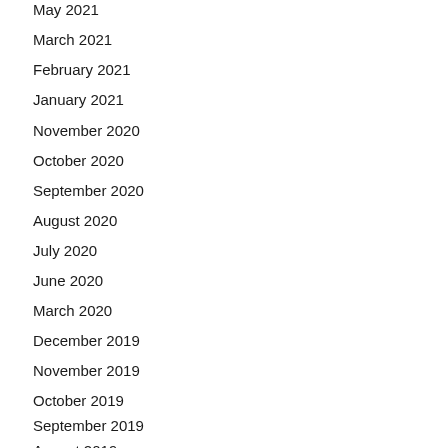May 2021
March 2021
February 2021
January 2021
November 2020
October 2020
September 2020
August 2020
July 2020
June 2020
March 2020
December 2019
November 2019
October 2019
September 2019
August 2019